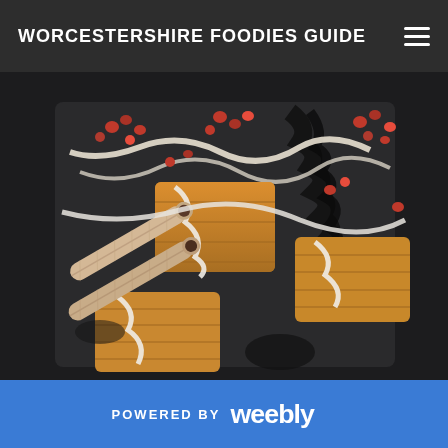WORCESTERSHIRE FOODIES GUIDE
[Figure (photo): A dark slate serving plate with three pieces of baklava or similar golden pastry topped with cream drizzle, accompanied by two rolled wafer/cigarette biscuits, scattered pomegranate seeds, and decorative dark sauce swirls on a dark background.]
POWERED BY weebly